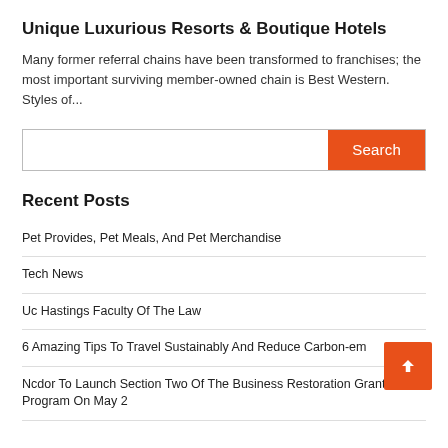Unique Luxurious Resorts & Boutique Hotels
Many former referral chains have been transformed to franchises; the most important surviving member-owned chain is Best Western. Styles of...
[Figure (screenshot): Search bar with text input field and orange Search button]
Recent Posts
Pet Provides, Pet Meals, And Pet Merchandise
Tech News
Uc Hastings Faculty Of The Law
6 Amazing Tips To Travel Sustainably And Reduce Carbon-em
Ncdor To Launch Section Two Of The Business Restoration Grant Program On May 2